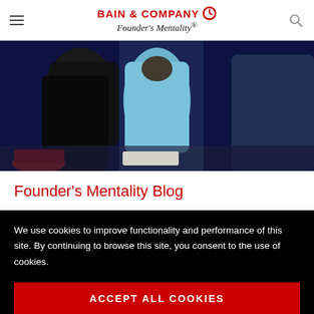BAIN & COMPANY Founder's Mentality®
[Figure (photo): Group of people viewed from behind, wearing workout/athletic clothing in a fitness or gym setting. Dark blue and teal tones.]
Founder's Mentality Blog
We use cookies to improve functionality and performance of this site. By continuing to browse this site, you consent to the use of cookies.
ACCEPT ALL COOKIES
Manage cookie settings ▶